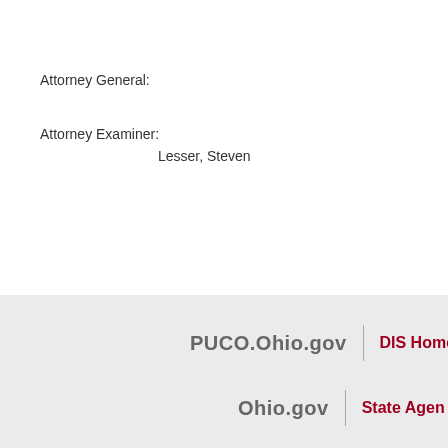Attorney General:
Attorney Examiner:
Lesser, Steven
PUCO.Ohio.gov | DIS Home
Ohio.gov | State Agen...